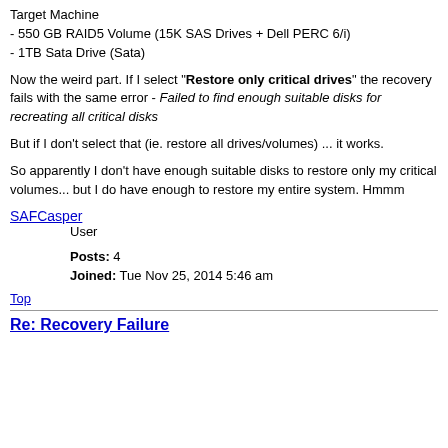Target Machine
- 550 GB RAID5 Volume (15K SAS Drives + Dell PERC 6/i)
- 1TB Sata Drive (Sata)
Now the weird part. If I select "Restore only critical drives" the recovery fails with the same error - Failed to find enough suitable disks for recreating all critical disks
But if I don't select that (ie. restore all drives/volumes) ... it works.
So apparently I don't have enough suitable disks to restore only my critical volumes... but I do have enough to restore my entire system. Hmmm
SAFCasper
User
Posts: 4
Joined: Tue Nov 25, 2014 5:46 am
Top
Re: Recovery Failure